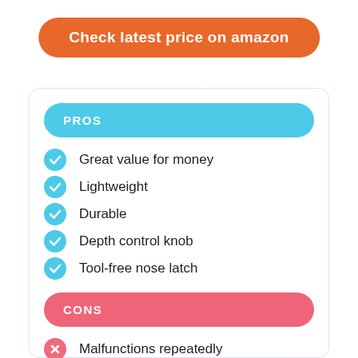Check latest price on amazon
PROS
Great value for money
Lightweight
Durable
Depth control knob
Tool-free nose latch
CONS
Malfunctions repeatedly